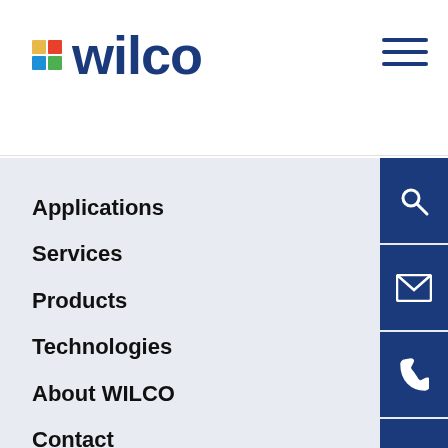wilco
Applications
Services
Products
Technologies
About WILCO
Contact
News & Events